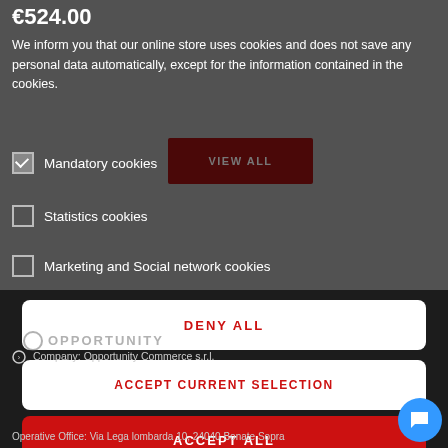€524.00
We inform you that our online store uses cookies and does not save any personal data automatically, except for the information contained in the cookies.
Mandatory cookies
Statistics cookies
Marketing and Social network cookies
DENY ALL
ACCEPT CURRENT SELECTION
ACCEPT ALL
Company: Opportunity Commerce s.r.l.
Operative Office: Via Lega lombarda 10, 24040 Bonate Sopra